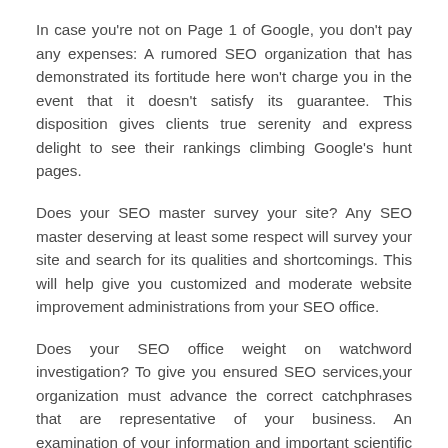In case you're not on Page 1 of Google, you don't pay any expenses: A rumored SEO organization that has demonstrated its fortitude here won't charge you in the event that it doesn't satisfy its guarantee. This disposition gives clients true serenity and express delight to see their rankings climbing Google's hunt pages.
Does your SEO master survey your site? Any SEO master deserving at least some respect will survey your site and search for its qualities and shortcomings. This will help give you customized and moderate website improvement administrations from your SEO office.
Does your SEO office weight on watchword investigation? To give you ensured SEO services,your organization must advance the correct catchphrases that are representative of your business. An examination of your information and important scientific reports will help find the correct watchwords to create the most elevated jump of traffic